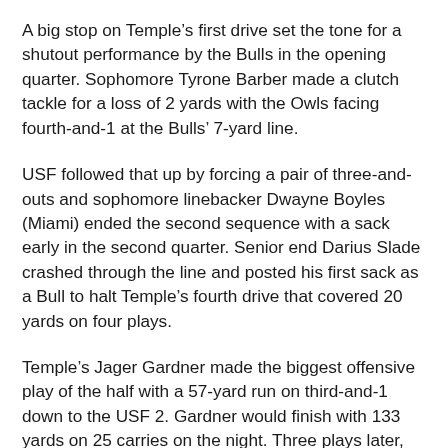A big stop on Temple's first drive set the tone for a shutout performance by the Bulls in the opening quarter. Sophomore Tyrone Barber made a clutch tackle for a loss of 2 yards with the Owls facing fourth-and-1 at the Bulls' 7-yard line.
USF followed that up by forcing a pair of three-and-outs and sophomore linebacker Dwayne Boyles (Miami) ended the second sequence with a sack early in the second quarter. Senior end Darius Slade crashed through the line and posted his first sack as a Bull to halt Temple's fourth drive that covered 20 yards on four plays.
Temple's Jager Gardner made the biggest offensive play of the half with a 57-yard run on third-and-1 down to the USF 2. Gardner would finish with 133 yards on 25 carries on the night. Three plays later, Todd Centeio threw a 1-yard touchdown pass to Kenny Yeboah with just 1:29 to go before the break.